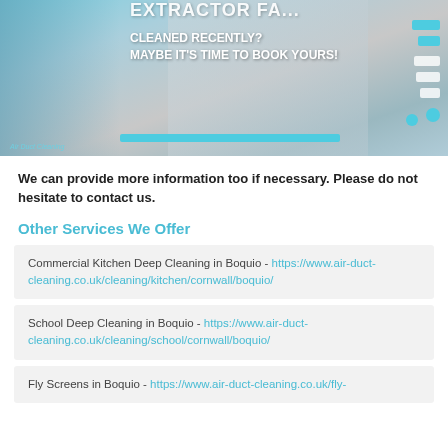[Figure (photo): Photo of extractor fan/duct cleaning with overlaid text: 'CLEANED RECENTLY? MAYBE IT'S TIME TO BOOK YOURS!' and cyan decorative rectangles, with 'Air Duct Cleaning' watermark]
We can provide more information too if necessary. Please do not hesitate to contact us.
Other Services We Offer
Commercial Kitchen Deep Cleaning in Boquio - https://www.air-duct-cleaning.co.uk/cleaning/kitchen/cornwall/boquio/
School Deep Cleaning in Boquio - https://www.air-duct-cleaning.co.uk/cleaning/school/cornwall/boquio/
Fly Screens in Boquio - https://www.air-duct-cleaning.co.uk/fly-